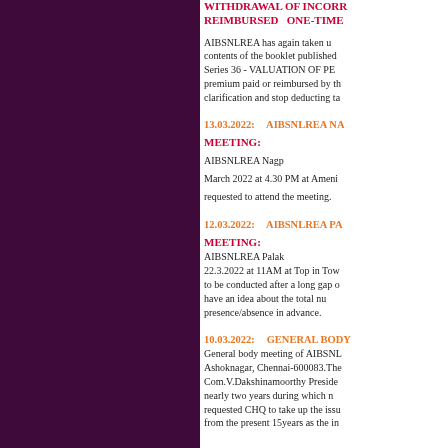[Figure (other): Dark purple/maroon decorative left panel]
WITHDRAWAL OF INCORRECTLY REIMBURSED ONE-TIME ...
AIBSNLREA has again taken up the contents of the booklet published... Series 36 - VALUATION OF PE... premium paid or reimbursed by th... clarification and stop deducting ta...
13.03.2022: AIBSNLREA NA... MEETING:
AIBSNLREA Nagp... March 2022 at 4.30 PM at Ameni... requested to attend the meeting.
12.03.2022: AIBSNLREA PA... MEETING:
AIBSNLREA Palak... 22.3.2022 at 11AM at Top in Tow... to be conducted after a long gap o... have an idea about the total nu... presence/absence in advance.
10.03.2022: GENERAL BODY...
General body meeting of AIBSNL... Ashoknagar, Chennai-600083.The... Com.V.Dakshinamoorthy Preside... nearly two years during which n... requested CHQ to take up the issu... from the present 15years as the in...